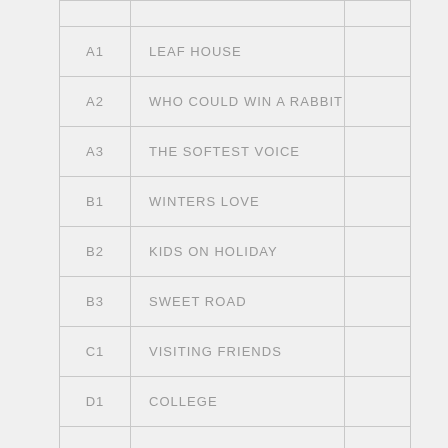| Code | Title |  |
| --- | --- | --- |
| A1 | LEAF HOUSE |  |
| A2 | WHO COULD WIN A RABBIT |  |
| A3 | THE SOFTEST VOICE |  |
| B1 | WINTERS LOVE |  |
| B2 | KIDS ON HOLIDAY |  |
| B3 | SWEET ROAD |  |
| C1 | VISITING FRIENDS |  |
| D1 | COLLEGE |  |
|  |  |  |